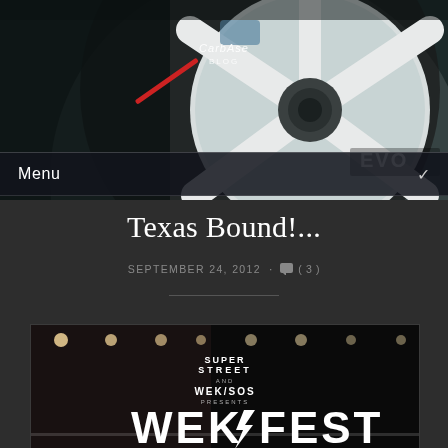[Figure (photo): Close-up photo of a white car wheel/rim with EVO branding, dark background]
Menu
Texas Bound!...
SEPTEMBER 24, 2012 · ( 3 )
[Figure (photo): Event promotional image for WekFest, presented by Super Street and Wek/SOS, showing WEK FEST text with lightning bolt logo]